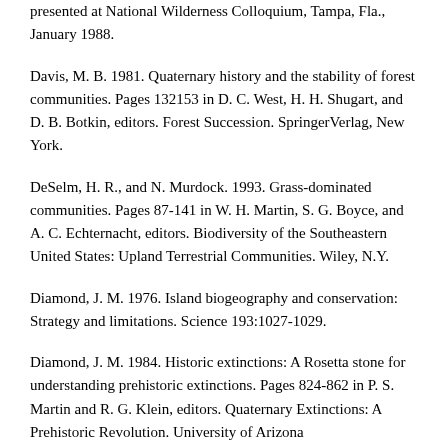presented at National Wilderness Colloquium, Tampa, Fla., January 1988.
Davis, M. B. 1981. Quaternary history and the stability of forest communities. Pages 132153 in D. C. West, H. H. Shugart, and D. B. Botkin, editors. Forest Succession. SpringerVerlag, New York.
DeSelm, H. R., and N. Murdock. 1993. Grass-dominated communities. Pages 87-141 in W. H. Martin, S. G. Boyce, and A. C. Echternacht, editors. Biodiversity of the Southeastern United States: Upland Terrestrial Communities. Wiley, N.Y.
Diamond, J. M. 1976. Island biogeography and conservation: Strategy and limitations. Science 193:1027-1029.
Diamond, J. M. 1984. Historic extinctions: A Rosetta stone for understanding prehistoric extinctions. Pages 824-862 in P. S. Martin and R. G. Klein, editors. Quaternary Extinctions: A Prehistoric Revolution. University of Arizona